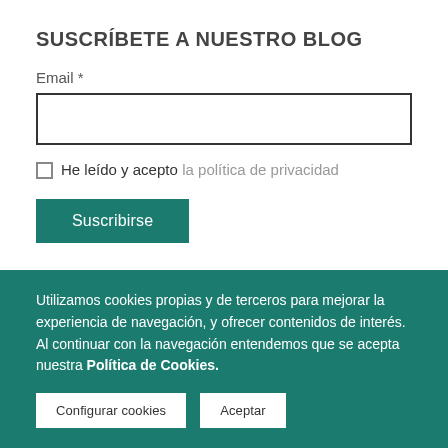SUSCRÍBETE A NUESTRO BLOG
Email *
He leído y acepto la política de privacidad
Suscribirse
Utilizamos cookies propias y de terceros para mejorar la experiencia de navegación, y ofrecer contenidos de interés. Al continuar con la navegación entendemos que se acepta nuestra Política de Cookies.
Configurar cookies
Aceptar